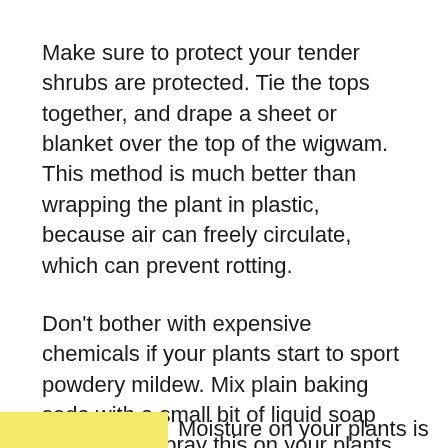Make sure to protect your tender shrubs are protected. Tie the tops together, and drape a sheet or blanket over the top of the wigwam. This method is much better than wrapping the plant in plastic, because air can freely circulate, which can prevent rotting.
Don't bother with expensive chemicals if your plants start to sport powdery mildew. Mix plain baking soda with a small bit of liquid soap and water. Spray this on your plants once a week until the mildew disappears. No damage will occur to your plants, and the baking soda is mild and efficient.
Moisture on your plants is